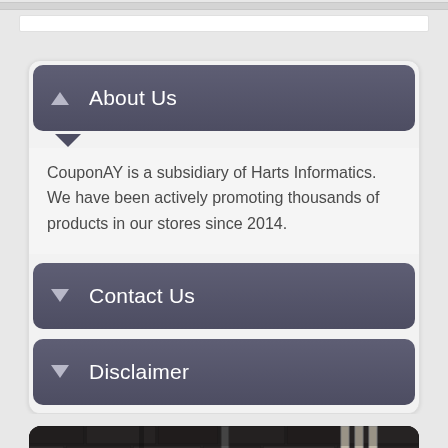About Us
CouponAY is a subsidiary of Harts Informatics. We have been actively promoting thousands of products in our stores since 2014.
Contact Us
Disclaimer
[Figure (photo): Dark brick wall with a mounted sign reading ROCK (something) BUCKET, and a door with a doorknob on the left side.]